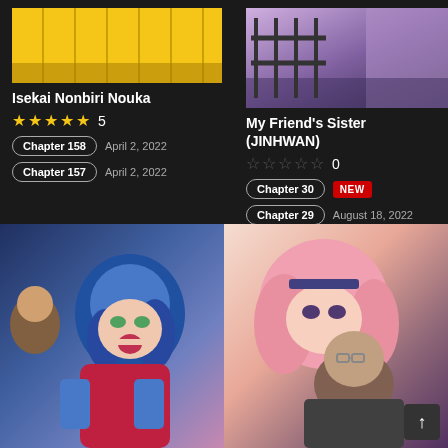[Figure (illustration): Top left: Yellow-toned manga cover thumbnail for Isekai Nonbiri Nouka]
Isekai Nonbiri Nouka
★★★★★ 5
Chapter 158  April 2, 2022
Chapter 157  April 2, 2022
[Figure (illustration): Top right: Purple-toned manga cover thumbnail for My Friend's Sister (JINHWAN)]
My Friend's Sister (JINHWAN)
☆☆☆☆☆ 0
Chapter 30  NEW
Chapter 29  August 18, 2022
[Figure (illustration): Bottom left: Manga illustration with anime character with blue hair]
[Figure (illustration): Bottom right: Manga illustration with pink-haired female character and male character]